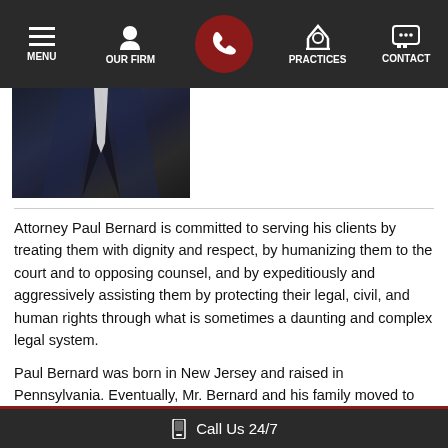MENU | OUR FIRM | [Phone] | PRACTICES | CONTACT
[Figure (photo): Partial photo of attorney in dark suit with white shirt, cropped at chest level]
Attorney Paul Bernard is committed to serving his clients by treating them with dignity and respect, by humanizing them to the court and to opposing counsel, and by expeditiously and aggressively assisting them by protecting their legal, civil, and human rights through what is sometimes a daunting and complex legal system.
Paul Bernard was born in New Jersey and raised in Pennsylvania. Eventually, Mr. Bernard and his family moved to
Call Us 24/7